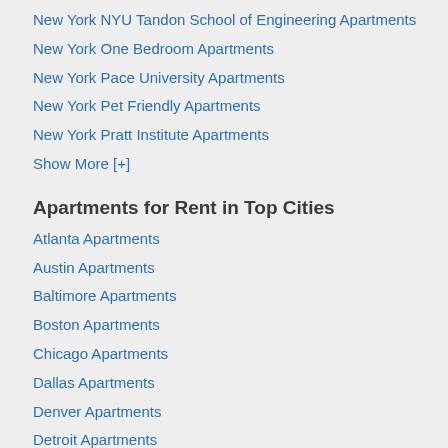New York NYU Tandon School of Engineering Apartments
New York One Bedroom Apartments
New York Pace University Apartments
New York Pet Friendly Apartments
New York Pratt Institute Apartments
Show More [+]
Apartments for Rent in Top Cities
Atlanta Apartments
Austin Apartments
Baltimore Apartments
Boston Apartments
Chicago Apartments
Dallas Apartments
Denver Apartments
Detroit Apartments